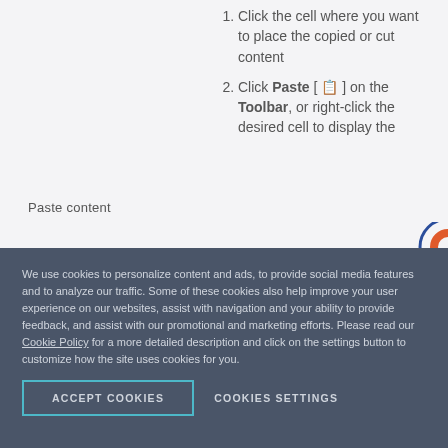Click the cell where you want to place the copied or cut content
Click Paste [ clipboard icon ] on the Toolbar, or right-click the desired cell to display the
Paste content
We use cookies to personalize content and ads, to provide social media features and to analyze our traffic. Some of these cookies also help improve your user experience on our websites, assist with navigation and your ability to provide feedback, and assist with our promotional and marketing efforts. Please read our Cookie Policy for a more detailed description and click on the settings button to customize how the site uses cookies for you.
ACCEPT COOKIES
COOKIES SETTINGS